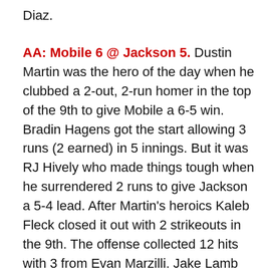Diaz.
AA: Mobile 6 @ Jackson 5. Dustin Martin was the hero of the day when he clubbed a 2-out, 2-run homer in the top of the 9th to give Mobile a 6-5 win. Bradin Hagens got the start allowing 3 runs (2 earned) in 5 innings. But it was RJ Hively who made things tough when he surrendered 2 runs to give Jackson a 5-4 lead. After Martin's heroics Kaleb Fleck closed it out with 2 strikeouts in the 9th. The offense collected 12 hits with 3 from Evan Marzilli. Jake Lamb went 2 for 4 with a walk. Todd Glaesmann was 2 for 4 with a double and 2 RBI. And Sean Jamieson added a pair of singles.